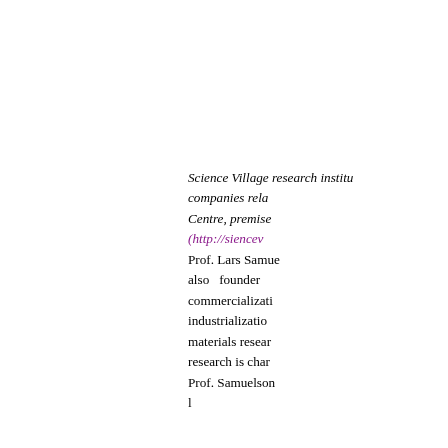Science Village ... research institu... companies rela... Centre, premise... (http://siencev... Prof. Lars Samue... also founder ... commercializati... industrialization... materials resear... research is char... Prof. Samuelson... l...